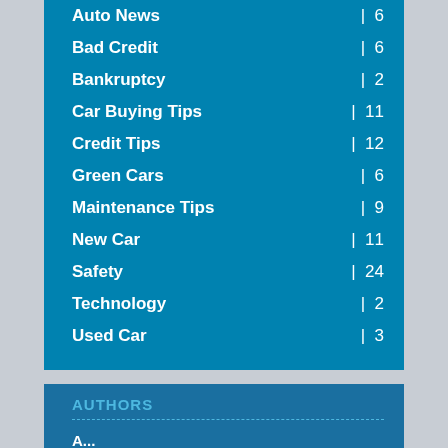Auto News | 6
Bad Credit | 6
Bankruptcy | 2
Car Buying Tips | 11
Credit Tips | 12
Green Cars | 6
Maintenance Tips | 9
New Car | 11
Safety | 24
Technology | 2
Used Car | 3
AUTHORS